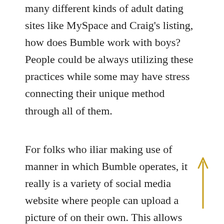many different kinds of adult dating sites like MySpace and Craig's listing, how does Bumble work with boys? People could be always utilizing these practices while some may have stress connecting their unique method through all of them.
For folks who iliar making use of manner in which Bumble operates, it really is a variety of social media website where people can upload a picture of on their own. This allows customers in order to connect through an online cam
[Figure (illustration): A gold/yellow upward-pointing arrow on the right side of the page]